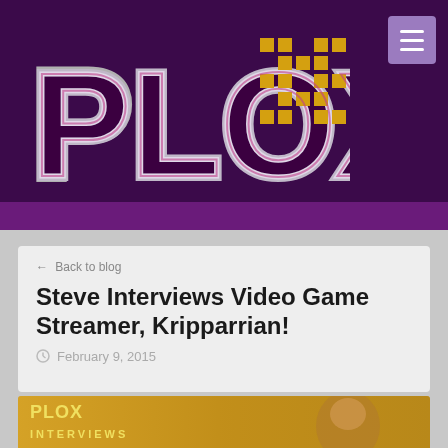[Figure (logo): PLOX website logo in purple/magenta and gold pixel style on dark purple background with hamburger menu button]
← Back to blog
Steve Interviews Video Game Streamer, Kripparrian!
February 9, 2015
[Figure (illustration): PLOX Interviews banner image with illustrated character on golden/warm toned background]